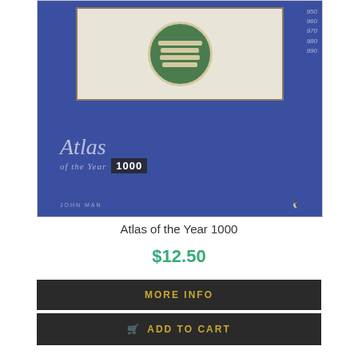[Figure (photo): Book cover of 'Atlas of the Year 1000' by John Man, showing a blue cover with an old map illustration, decorative numbering on the side (950, 960, 970, 980, 990, 1000), and the title in italic script with publisher Penguin logo.]
Atlas of the Year 1000
$12.50
MORE INFO
ADD TO CART